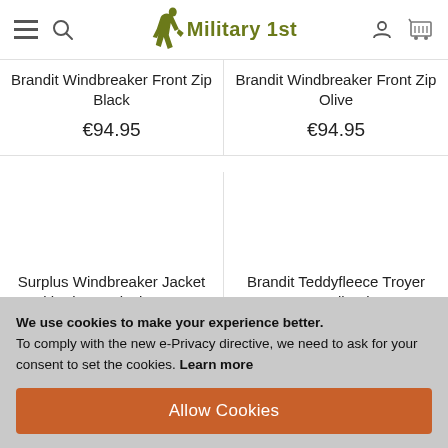Military 1st — navigation header with hamburger menu, search, logo, account, and cart icons
Brandit Windbreaker Front Zip Black
€94.95
Brandit Windbreaker Front Zip Olive
€94.95
Surplus Windbreaker Jacket with Zipper Black Camo
€89.95
Brandit Teddyfleece Troyer Woodland
€113.95
We use cookies to make your experience better. To comply with the new e-Privacy directive, we need to ask for your consent to set the cookies. Learn more
Allow Cookies